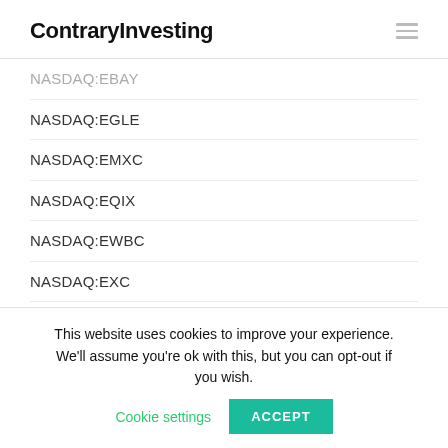ContraryInvesting
NASDAQ:EBAY
NASDAQ:EGLE
NASDAQ:EMXC
NASDAQ:EQIX
NASDAQ:EWBC
NASDAQ:EXC
NASDAQ:FAST
NASDAQ:FB
NASDAQ:FDUS
This website uses cookies to improve your experience. We'll assume you're ok with this, but you can opt-out if you wish. Cookie settings ACCEPT